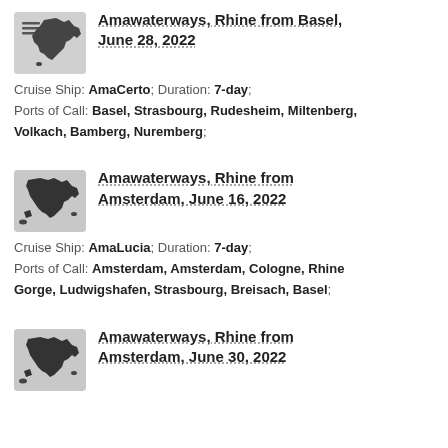[Figure (illustration): Small greyscale map icon of Europe]
Amawaterways, Rhine from Basel, June 28, 2022
Cruise Ship: AmaCerto; Duration: 7-day; Ports of Call: Basel, Strasbourg, Rudesheim, Miltenberg, Volkach, Bamberg, Nuremberg;
[Figure (illustration): Small greyscale map icon of Europe]
Amawaterways, Rhine from Amsterdam, June 16, 2022
Cruise Ship: AmaLucia; Duration: 7-day; Ports of Call: Amsterdam, Amsterdam, Cologne, Rhine Gorge, Ludwigshafen, Strasbourg, Breisach, Basel;
[Figure (illustration): Small greyscale map icon of Europe]
Amawaterways, Rhine from Amsterdam, June 30, 2022